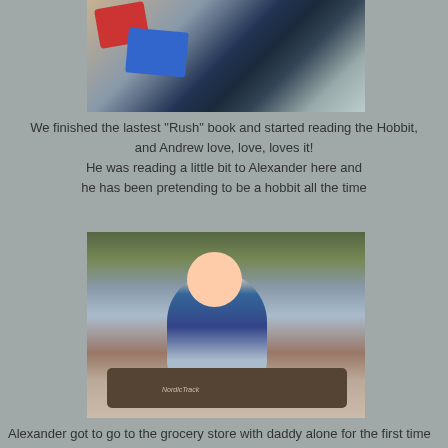[Figure (photo): Two children lying on a bed, one in dark pajamas with white pattern, the other in red clothing. Wooden furniture visible in background.]
We finished the lastest "Rush" book and started reading the Hobbit, and Andrew love, love, loves it!
He was reading a little bit to Alexander here and
he has been pretending to be a hobbit all the time
[Figure (photo): A young toddler with a small ponytail sitting in a jogging stroller/cart on a dirt path, wearing colorful clothing. The stroller has a NordicTrack logo visible.]
Alexander got to go to the grocery store with daddy alone for the first time